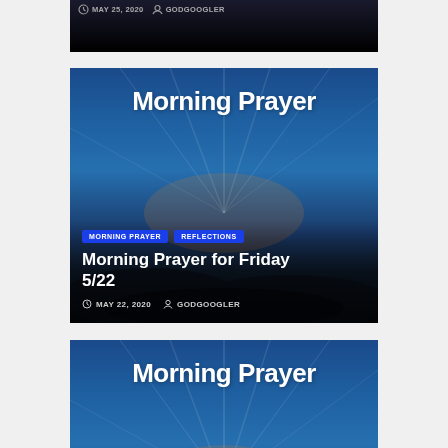[Figure (screenshot): Partial top card clipped at top showing clock icon, MAY 25, 2020, person icon, GODGOOGLER in gray text on dark background]
[Figure (screenshot): Blog post card with blue sky and sunrays background. Header image says 'Morning Prayer' in bold white. Tags: MORNING PRAYER, REFLECTIONS. Title: Morning Prayer for Friday 5/22. Date: MAY 22, 2020. Author: GODGOOGLER]
[Figure (screenshot): Blog post card with blue sky and sunrays background. Header image says 'Morning Prayer' in bold white. Tag: MORNING PRAYER. Title: Morning Prayer for Ascension Thursday (partially visible)]